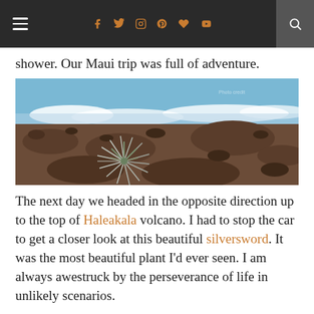Navigation bar with hamburger menu, social icons (Facebook, Twitter, Instagram, Pinterest, Heart, YouTube), and search
shower. Our Maui trip was full of adventure.
[Figure (photo): A silversword plant on the rocky volcanic slopes of Haleakala, with blue sky and clouds in background]
The next day we headed in the opposite direction up to the top of Haleakala volcano. I had to stop the car to get a closer look at this beautiful silversword. It was the most beautiful plant I'd ever seen. I am always awestruck by the perseverance of life in unlikely scenarios.